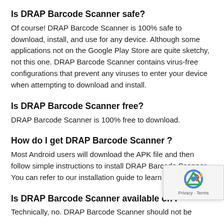Is DRAP Barcode Scanner safe?
Of course! DRAP Barcode Scanner is 100% safe to download, install, and use for any device. Although some applications not on the Google Play Store are quite sketchy, not this one. DRAP Barcode Scanner contains virus-free configurations that prevent any viruses to enter your device when attempting to download and install.
Is DRAP Barcode Scanner free?
DRAP Barcode Scanner is 100% free to download.
How do I get DRAP Barcode Scanner ?
Most Android users will download the APK file and then follow simple instructions to install DRAP Barcode Scanner . You can refer to our installation guide to learn more.
Is DRAP Barcode Scanner available on P
Technically, no. DRAP Barcode Scanner should not be